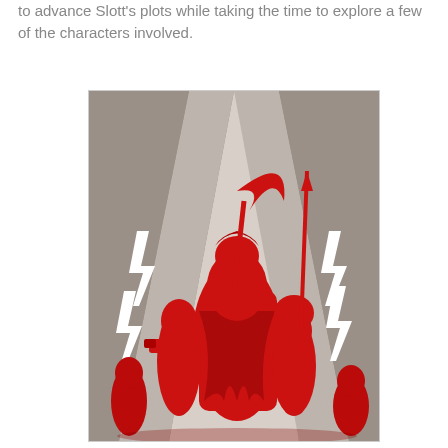to advance Slott's plots while taking the time to explore a few of the characters involved.
[Figure (illustration): A stylized comic book illustration featuring red silhouetted superhero/villain figures in dynamic poses against a gray and light background with white lightning bolt designs. Characters hold weapons including a gun and a staff/spear. The composition is in red monochrome against geometric ray patterns.]